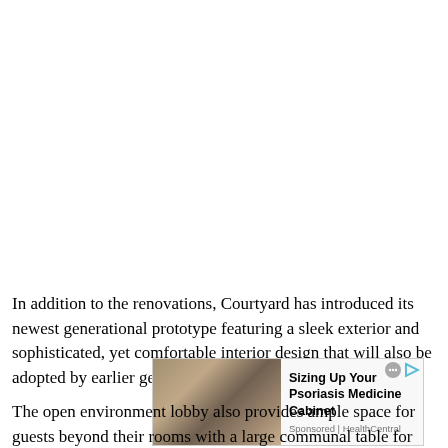In addition to the renovations, Courtyard has introduced its newest generational prototype featuring a sleek exterior and sophisticated, yet comfortable interior design that will also be adopted by earlier generation hotels.
[Figure (photo): Advertisement overlay: Sizing Up Your Psoriasis Medicine Cabinet, Sponsored | HealthCentral, with a photo of a medicine cabinet]
The open environment lobby also provides ample space for guests beyond their rooms with a large communal table for